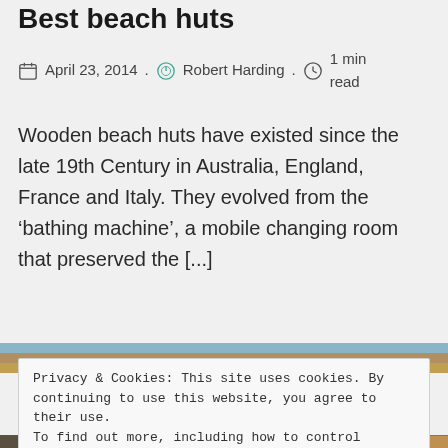Best beach huts
April 23, 2014 . Robert Harding . 1 min read
Wooden beach huts have existed since the late 19th Century in Australia, England, France and Italy. They evolved from the ‘bathing machine’, a mobile changing room that preserved the [...]
[Figure (photo): Partial image strip showing a beach or outdoor scene with blue sky and golden/brown tones]
Privacy & Cookies: This site uses cookies. By continuing to use this website, you agree to their use.
To find out more, including how to control cookies, see here: Cookie Policy
[Figure (photo): Partial image strip at the bottom showing an outdoor scene with warm golden and brown tones]